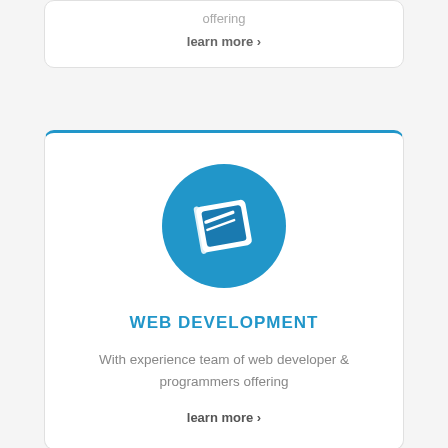offering
learn more >
[Figure (illustration): Blue circle icon containing a white notebook/book icon]
WEB DEVELOPMENT
With experience team of web developer & programmers offering
learn more >